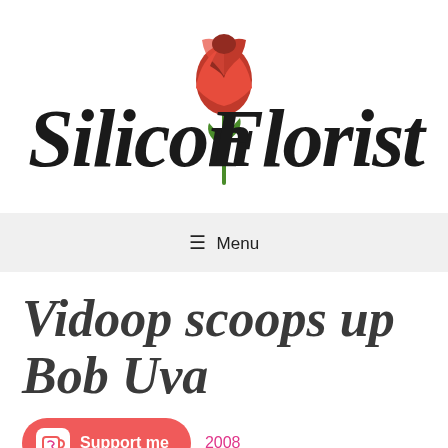[Figure (logo): Silicon Florist logo: cursive black text 'Silicon Florist' with a red rose graphic above the stem between the two words]
≡ Menu
Vidoop scoops up Bob Uva
Support me   2008